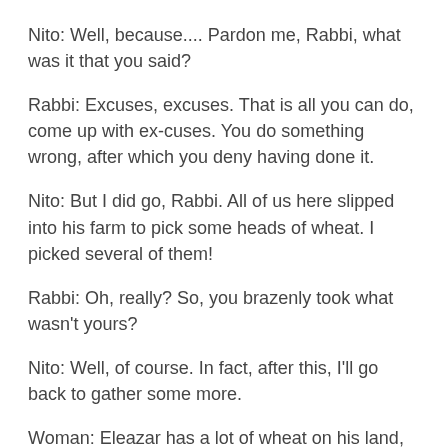Nito: Well, because.... Pardon me, Rabbi, what was it that you said?
Rabbi: Excuses, excuses. That is all you can do, come up with ex-cuses. You do something wrong, after which you deny having done it.
Nito: But I did go, Rabbi. All of us here slipped into his farm to pick some heads of wheat. I picked several of them!
Rabbi: Oh, really? So, you brazenly took what wasn't yours?
Nito: Well, of course. In fact, after this, I'll go back to gather some more.
Woman: Eleazar has a lot of wheat on his land, while we don't have any!
John: God can't allow people to starve to death while